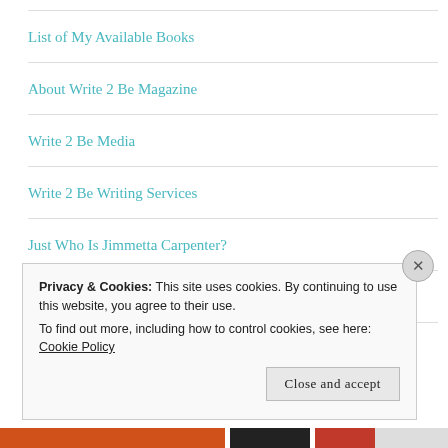List of My Available Books
About Write 2 Be Magazine
Write 2 Be Media
Write 2 Be Writing Services
Just Who Is Jimmetta Carpenter?
Write 2 Be Magazine
Privacy & Cookies: This site uses cookies. By continuing to use this website, you agree to their use.
To find out more, including how to control cookies, see here: Cookie Policy
Close and accept